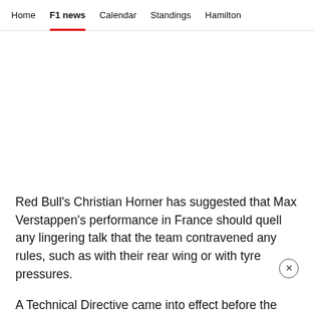Home  F1 news  Calendar  Standings  Hamilton
Red Bull's Christian Horner has suggested that Max Verstappen's performance in France should quell any lingering talk that the team contravened any rules, such as with their rear wing or with tyre pressures.
A Technical Directive came into effect before the French